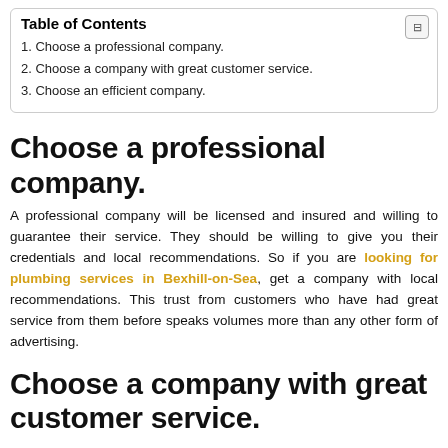Table of Contents
1. Choose a professional company.
2. Choose a company with great customer service.
3. Choose an efficient company.
Choose a professional company.
A professional company will be licensed and insured and willing to guarantee their service. They should be willing to give you their credentials and local recommendations. So if you are looking for plumbing services in Bexhill-on-Sea, get a company with local recommendations. This trust from customers who have had great service from them before speaks volumes more than any other form of advertising.
Choose a company with great customer service.